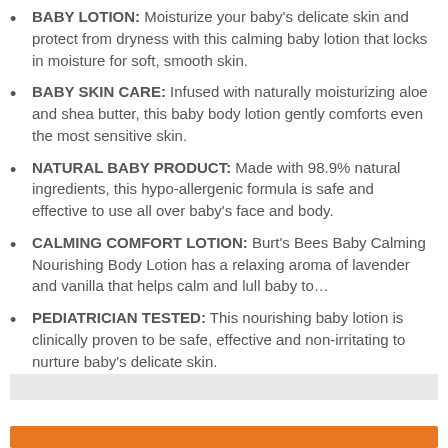BABY LOTION: Moisturize your baby's delicate skin and protect from dryness with this calming baby lotion that locks in moisture for soft, smooth skin.
BABY SKIN CARE: Infused with naturally moisturizing aloe and shea butter, this baby body lotion gently comforts even the most sensitive skin.
NATURAL BABY PRODUCT: Made with 98.9% natural ingredients, this hypo-allergenic formula is safe and effective to use all over baby's face and body.
CALMING COMFORT LOTION: Burt's Bees Baby Calming Nourishing Body Lotion has a relaxing aroma of lavender and vanilla that helps calm and lull baby to…
PEDIATRICIAN TESTED: This nourishing baby lotion is clinically proven to be safe, effective and non-irritating to nurture baby's delicate skin.